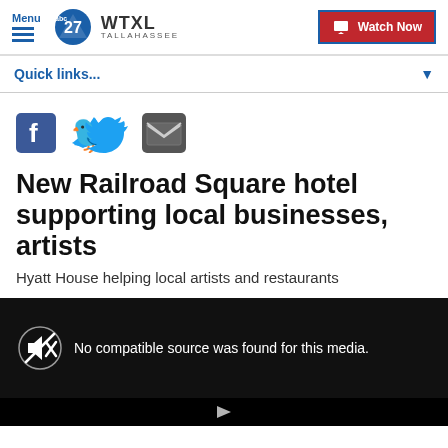Menu | WTXL TALLAHASSEE | Watch Now
Quick links...
[Figure (other): Social sharing icons: Facebook, Twitter, Email]
New Railroad Square hotel supporting local businesses, artists
Hyatt House helping local artists and restaurants
[Figure (other): Video player showing: No compatible source was found for this media.]